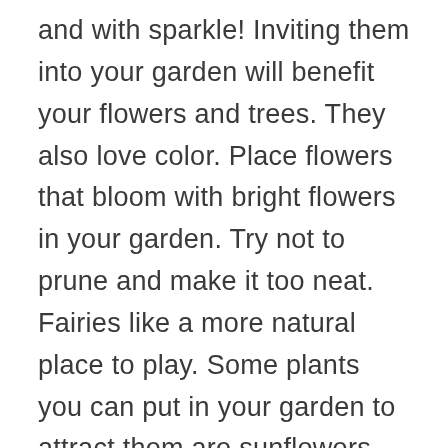and with sparkle! Inviting them into your garden will benefit your flowers and trees. They also love color. Place flowers that bloom with bright flowers in your garden. Try not to prune and make it too neat. Fairies like a more natural place to play. Some plants you can put in your garden to attract them are sunflowers, honeysuckle, lilacs, lavender and rosemary to name a few. Add some crystal to all of that and then ask for them to come. Sit on a bench and hum a tune or sing. Try to be childlike to attract them.